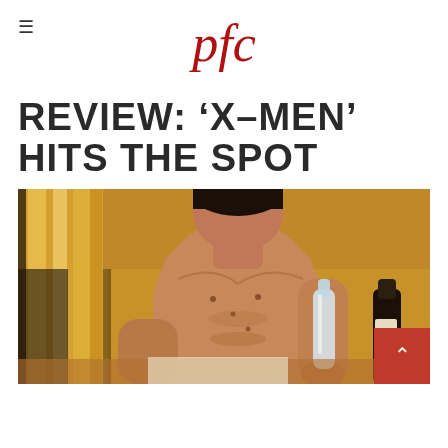pfc
REVIEW: 'X-MEN' HITS THE SPOT
[Figure (photo): Shirtless muscular man (Wolverine / Hugh Jackman character) sitting reclined, holding a glass bottle, with striped yellow and gold fabric in the background. A dark bottle is visible on the right side.]